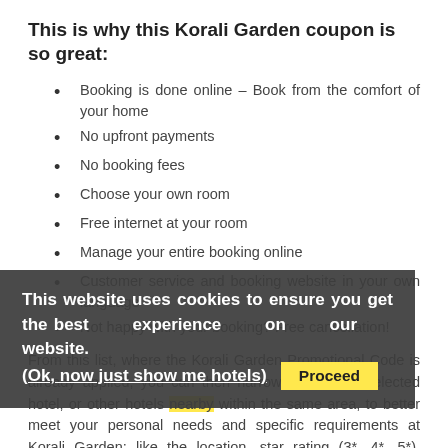This is why this Korali Garden coupon is so great:
Booking is done online – Book from the comfort of your home
No upfront payments
No booking fees
Choose your own room
Free internet at your room
Manage your entire booking online
Customer service and booking website in your own language
Not happy with your booking? Free cancellation!
From this list, where the Korali Garden Promotional Code is already applied, you can then narrow down your selected hotel, or other hotels nearby within the same area, to better meet your personal needs and specific requirements at Korali Garden; like the location, star rating (3*, 4*, 5*), facilities
This website uses cookies to ensure you get the best experience on our website. (Ok, now just show me hotels)